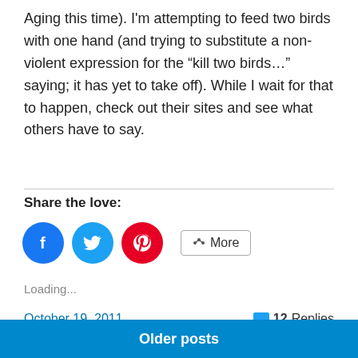Aging this time). I'm attempting to feed two birds with one hand (and trying to substitute a non-violent expression for the “kill two birds…” saying; it has yet to take off). While I wait for that to happen, check out their sites and see what others have to say.
Share the love:
[Figure (other): Social sharing buttons: Facebook (blue circle), Twitter (blue circle), Pinterest (red circle), and a More button with share icon]
Loading...
October 19, 2011    💬 12 Replies
Older posts